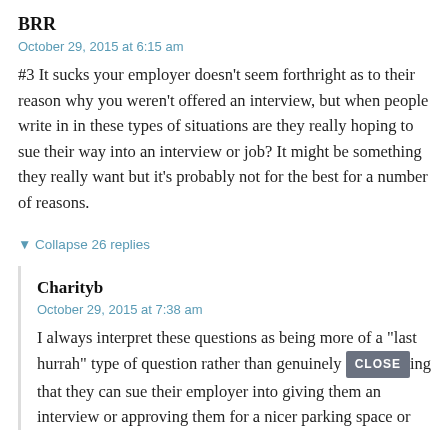BRR
October 29, 2015 at 6:15 am
#3 It sucks your employer doesn’t seem forthright as to their reason why you weren’t offered an interview, but when people write in in these types of situations are they really hoping to sue their way into an interview or job? It might be something they really want but it’s probably not for the best for a number of reasons.
▼ Collapse 26 replies
Charityb
October 29, 2015 at 7:38 am
I always interpret these questions as being more of a “last hurrah” type of question rather than genuinely believing that they can sue their employer into giving them an interview or approving them for a nicer parking space or